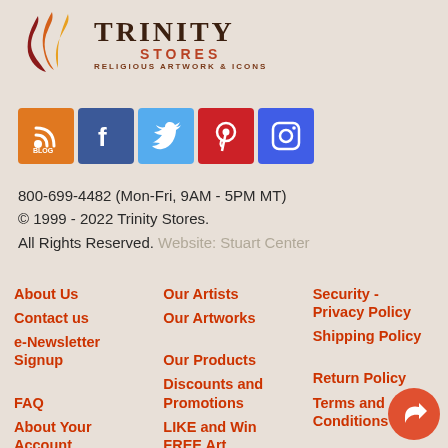[Figure (logo): Trinity Stores logo with flame icon and text 'TRINITY STORES RELIGIOUS ARTWORK & ICONS']
[Figure (infographic): Social media icons row: Blog/RSS (orange), Facebook (blue), Twitter (light blue), Pinterest (red), Instagram (blue/purple)]
800-699-4482 (Mon-Fri, 9AM - 5PM MT)
© 1999 - 2022 Trinity Stores. All Rights Reserved. Website: Stuart Center
About Us
Contact us
e-Newsletter Signup
FAQ
About Your Account
Our Artists
Our Artworks
Our Products
Discounts and Promotions
LIKE and Win FREE Art Original
Security - Privacy Policy
Shipping Policy
Return Policy
Terms and Conditions
Church Buyers